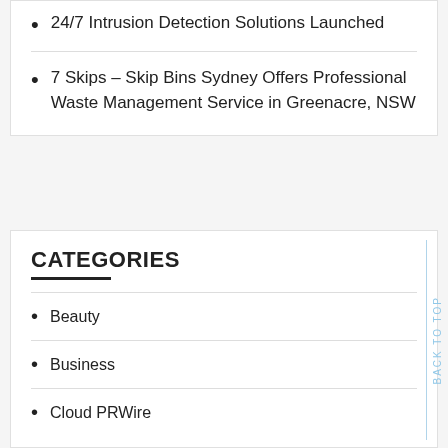24/7 Intrusion Detection Solutions Launched
7 Skips – Skip Bins Sydney Offers Professional Waste Management Service in Greenacre, NSW
CATEGORIES
Beauty
Business
Cloud PRWire